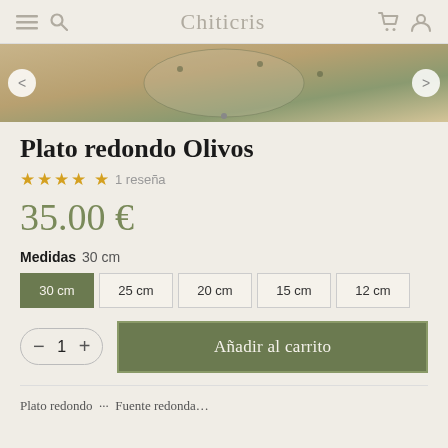Chiticris
[Figure (photo): Product photo carousel showing a round olive-patterned ceramic plate on a wooden background, with left and right navigation arrows]
Plato redondo Olivos
★★★★★ 1 reseña
35.00 €
Medidas  30 cm
30 cm
25 cm
20 cm
15 cm
12 cm
Añadir al carrito
Plato redondo ...